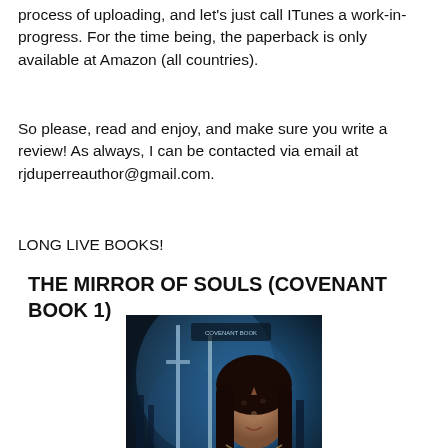process of uploading, and let's just call ITunes a work-in-progress. For the time being, the paperback is only available at Amazon (all countries).
So please, read and enjoy, and make sure you write a review! As always, I can be contacted via email at rjduperreauthor@gmail.com.
LONG LIVE BOOKS!
THE MIRROR OF SOULS (COVENANT BOOK 1)
[Figure (illustration): Book cover image for 'The Mirror of Souls (Covenant Book 1)' showing a dark fantasy scene with a young woman with long dark hair against a blue smoky background with swords. Text 'THE' visible at bottom.]